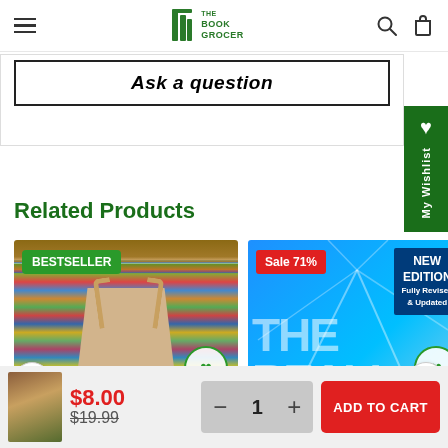The Book Grocer
Ask a question
Related Products
[Figure (photo): Bookshelf with colorful books in background, a beige tote bag in foreground. Green BESTSELLER badge top left. Heart/wishlist icon bottom right.]
[Figure (photo): Blue book cover with 'THE REALITY' text. Red Sale 71% badge top left. Dark blue NEW EDITION Fully Revised & Updated badge top right. Heart/wishlist icon.]
$8.00
$19.99
1
ADD TO CART
My Wishlist